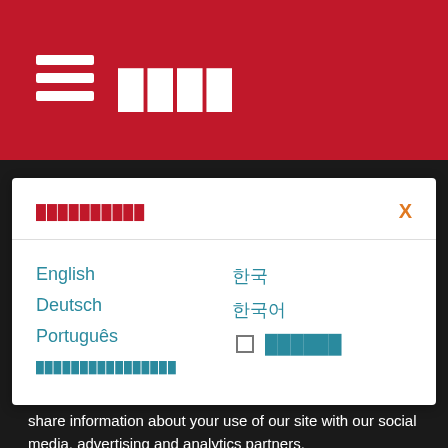☰ ████
██████████
English - 한국
Deutsch - 한국어
Português - ☐ ██████
████████████████
3DMark is also available for Windows PCs and is coming soon to Apple iOS and Windows RT.
We use cookies to personalize content and ads, to provide social media features and to analyze our traffic. We also share information about your use of our site with our social media, advertising and analytics partners.